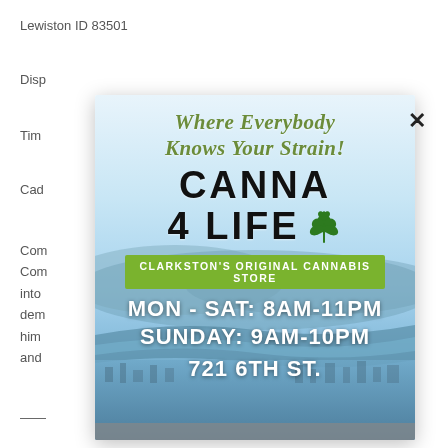Lewiston ID 83501
Disp
Tim
Cad
Com                                        residence. Com                                        ping. Came into                                         king and dem                                        he warned him                                        e door frame and
[Figure (illustration): Canna 4 Life cannabis store advertisement popup/modal with aerial city photo background. Text reads: 'Where Everybody Knows Your Strain!' with cannabis leaf logo, 'CANNA 4 LIFE', 'CLARKSTON'S ORIGINAL CANNABIS STORE', 'MON - SAT: 8AM-11PM', 'SUNDAY: 9AM-10PM', '721 6TH ST.']